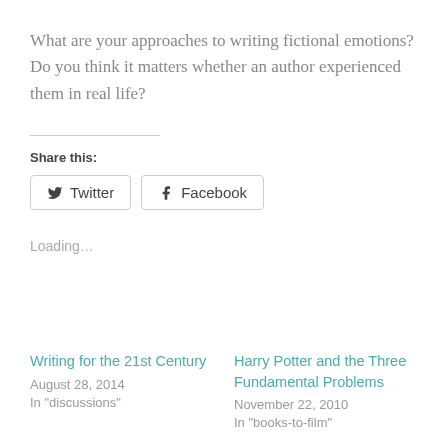What are your approaches to writing fictional emotions? Do you think it matters whether an author experienced them in real life?
Share this:
Loading...
Writing for the 21st Century
August 28, 2014
In "discussions"
Harry Potter and the Three Fundamental Problems
November 22, 2010
In "books-to-film"